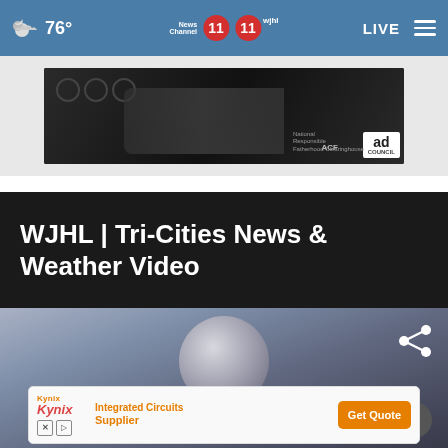76° News Channel 11 wjhl 11 LIVE
[Figure (photo): Dark monochrome advertisement banner featuring hands, ACF logo, and Ad Council branding]
WJHL | Tri-Cities News & Weather Video
[Figure (screenshot): Video preview section showing a spherical object against a gradient background with a share icon and close button]
[Figure (other): Kynix advertisement banner — Integrated Circuits Supplier with Get Quote button]